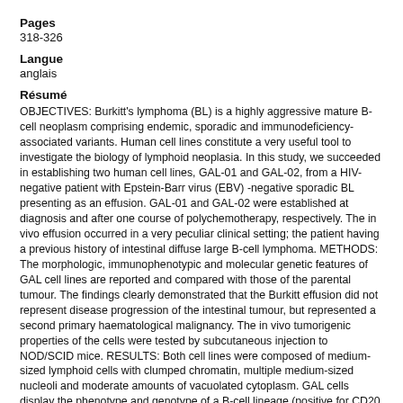Pages
318-326
Langue
anglais
Résumé
OBJECTIVES: Burkitt's lymphoma (BL) is a highly aggressive mature B-cell neoplasm comprising endemic, sporadic and immunodeficiency-associated variants. Human cell lines constitute a very useful tool to investigate the biology of lymphoid neoplasia. In this study, we succeeded in establishing two human cell lines, GAL-01 and GAL-02, from a HIV-negative patient with Epstein-Barr virus (EBV) -negative sporadic BL presenting as an effusion. GAL-01 and GAL-02 were established at diagnosis and after one course of polychemotherapy, respectively. The in vivo effusion occurred in a very peculiar clinical setting; the patient having a previous history of intestinal diffuse large B-cell lymphoma. METHODS: The morphologic, immunophenotypic and molecular genetic features of GAL cell lines are reported and compared with those of the parental tumour. The findings clearly demonstrated that the Burkitt effusion did not represent disease progression of the intestinal tumour, but represented a second primary haematological malignancy. The in vivo tumorigenic properties of the cells were tested by subcutaneous injection to NOD/SCID mice. RESULTS: Both cell lines were composed of medium-sized lymphoid cells with clumped chromatin, multiple medium-sized nucleoli and moderate amounts of vacuolated cytoplasm. GAL cells display the phenotype and genotype of a B-cell lineage (positive for CD20, CD79a and clonal rearrangement of Ig heavy chain), carry the c-MYC rearrangement by t(8;22)(q24;q11) translocation and are characterised by the expression of the germinal centre-associated antigens CD10, BCL6, CD38 and absent to low BCL2 expression. EBV and HHV8 were not identified within parental tumour or in cultured cells. Subcutaneous